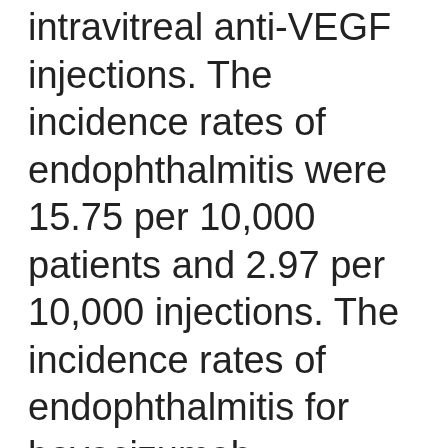intravitreal anti-VEGF injections. The incidence rates of endophthalmitis were 15.75 per 10,000 patients and 2.97 per 10,000 injections. The incidence rates of endophthalmitis for bevacizumab, ranibizumab, and aflibercept (per 10,000 injections) were 3.64, 1.39, and 0.76, respectively. The annual incidence has remained below 5.00 per...